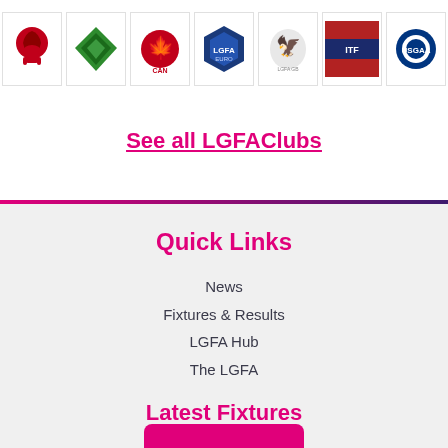[Figure (logo): Row of 7 club/organization logos in bordered boxes]
See all LGFAClubs
Quick Links
News
Fixtures & Results
LGFA Hub
The LGFA
Latest Fixtures
Antrim   Sat 13 @ 17:00   Fermanagh